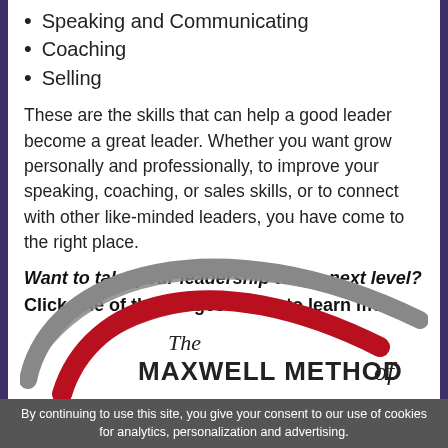Speaking and Communicating
Coaching
Selling
These are the skills that can help a good leader become a great leader. Whether you want grow personally and professionally, to improve your speaking, coaching, or sales skills, or to connect with other like-minded leaders, you have come to the right place.
Want to take your leadership to the next level? Click one of the images below to learn more.
[Figure (logo): The Maxwell Method of — swooping red and grey arc logo]
By continuing to use this site, you give your consent to our use of cookies for analytics, personalization and advertising.